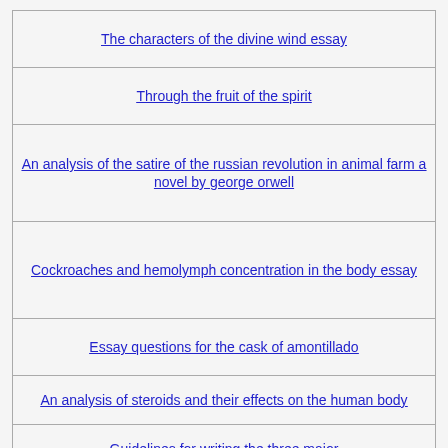The characters of the divine wind essay
Through the fruit of the spirit
An analysis of the satire of the russian revolution in animal farm a novel by george orwell
Cockroaches and hemolymph concentration in the body essay
Essay questions for the cask of amontillado
An analysis of steroids and their effects on the human body
Guidelines for writing the three major
Identify the key software applications used by the tea